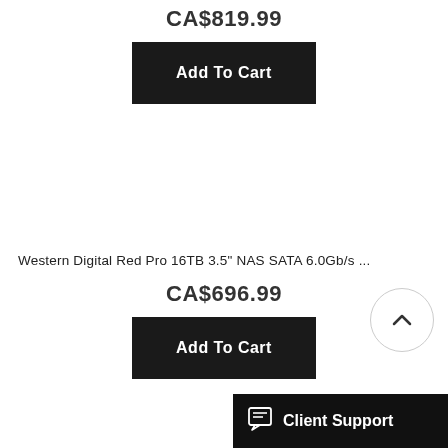CA$819.99
Add To Cart
Western Digital Red Pro 16TB 3.5" NAS SATA 6.0Gb/s ...
CA$696.99
Add To Cart
Client Support